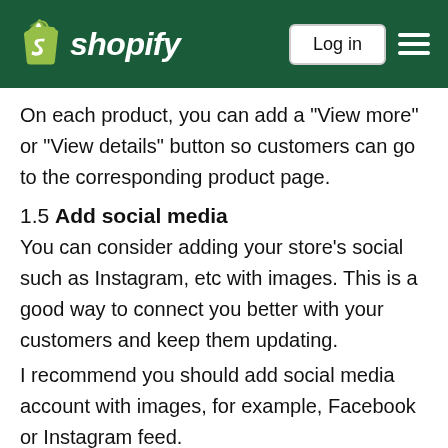Shopify | Log in
On each product, you can add a "View more" or "View details" button so customers can go to the corresponding product page.
1.5 Add social media
You can consider adding your store's social such as Instagram, etc with images. This is a good way to connect you better with your customers and keep them updating.
I recommend you should add social media account with images, for example, Facebook or Instagram feed.
1.6 Add customer's review
People love proof, especially when they visit a store and see many good reviews, they will be willing to shop. So you should add to attention right for customers.